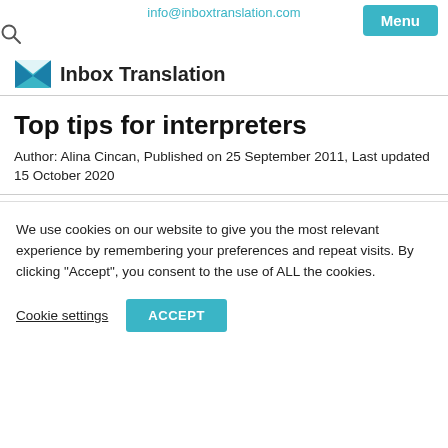info@inboxtranslation.com
[Figure (logo): Inbox Translation logo with envelope icon and company name]
Top tips for interpreters
Author: Alina Cincan, Published on 25 September 2011, Last updated 15 October 2020
We use cookies on our website to give you the most relevant experience by remembering your preferences and repeat visits. By clicking "Accept", you consent to the use of ALL the cookies.
Cookie settings  ACCEPT